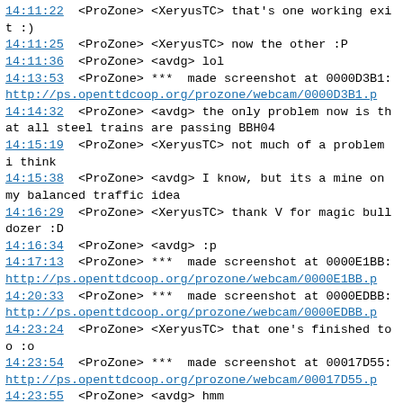14:11:22  <ProZone> <XeryusTC> that's one working exit :)
14:11:25  <ProZone> <XeryusTC> now the other :P
14:11:36  <ProZone> <avdg> lol
14:13:53  <ProZone> ***  made screenshot at 0000D3B1:
http://ps.openttdcoop.org/prozone/webcam/0000D3B1.p
14:14:32  <ProZone> <avdg> the only problem now is that all steel trains are passing BBH04
14:15:19  <ProZone> <XeryusTC> not much of a problem i think
14:15:38  <ProZone> <avdg> I know, but its a mine on my balanced traffic idea
14:16:29  <ProZone> <XeryusTC> thank V for magic bulldozer :D
14:16:34  <ProZone> <avdg> :p
14:17:13  <ProZone> ***  made screenshot at 0000E1BB:
http://ps.openttdcoop.org/prozone/webcam/0000E1BB.p
14:20:33  <ProZone> ***  made screenshot at 0000EDBB:
http://ps.openttdcoop.org/prozone/webcam/0000EDBB.p
14:23:24  <ProZone> <XeryusTC> that one's finished too :o
14:23:54  <ProZone> ***  made screenshot at 00017D55:
http://ps.openttdcoop.org/prozone/webcam/00017D55.p
14:23:55  <ProZone> <avdg> hmm
14:24:06  <avdg> almost no traffic